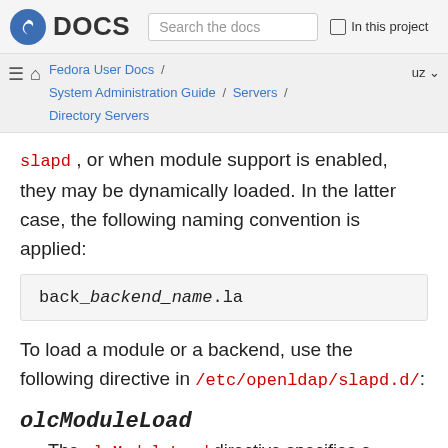DOCS | Search the docs | In this project
Fedora User Docs / System Administration Guide / Servers / Directory Servers | uz
slapd , or when module support is enabled, they may be dynamically loaded. In the latter case, the following naming convention is applied:
To load a module or a backend, use the following directive in /etc/openldap/slapd.d/:
olcModuleLoad
The olcModuleLoad directive specifies a dynamically loadable module to load. It takes the following form: